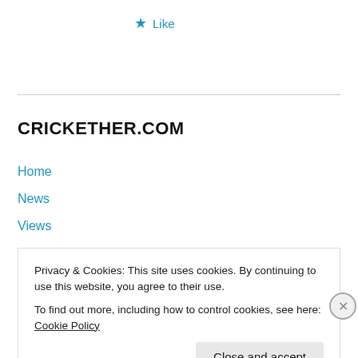★ Like
CRICKETHER.COM
Home
News
Views
Features
About Us
Get Involved
Contact Us
Privacy & Cookies: This site uses cookies. By continuing to use this website, you agree to their use.
To find out more, including how to control cookies, see here: Cookie Policy
Close and accept